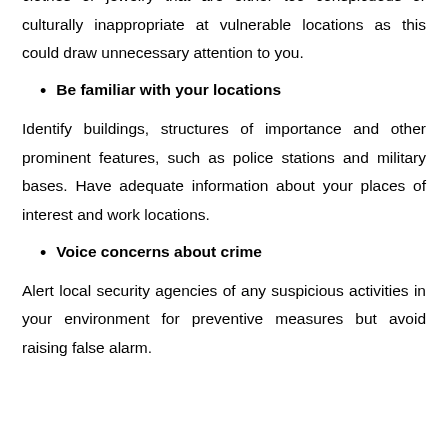clothes or jewelry that are either too conspicuous or culturally inappropriate at vulnerable locations as this could draw unnecessary attention to you.
Be familiar with your locations
Identify buildings, structures of importance and other prominent features, such as police stations and military bases. Have adequate information about your places of interest and work locations.
Voice concerns about crime
Alert local security agencies of any suspicious activities in your environment for preventive measures but avoid raising false alarm.